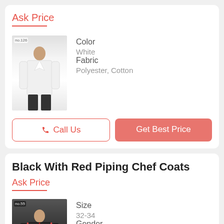Ask Price
[Figure (photo): White chef coat worn by a mannequin, shown from front]
Color
White
Fabric
Polyester, Cotton
Call Us
Get Best Price
Black With Red Piping Chef Coats
Ask Price
[Figure (photo): Black chef coat with red piping worn by a mannequin, shown from front]
Size
32-34
Gender
Male